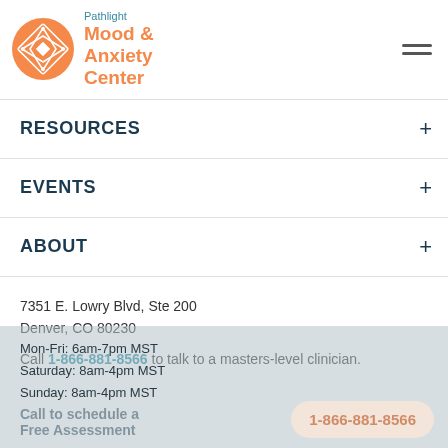[Figure (logo): Pathlight Mood & Anxiety Center logo — orange circle with geometric star/diamond pattern, teal text reading 'Pathlight' and orange text 'Mood & Anxiety Center']
RESOURCES
EVENTS
ABOUT
7351 E. Lowry Blvd, Ste 200
Denver, CO 80230
Call 1-866-881-8566 to talk to a masters-level clinician.
Mon-Fri: 6am-7pm MST
Saturday: 8am-4pm MST
Sunday: 8am-4pm MST
1-866-881-8566